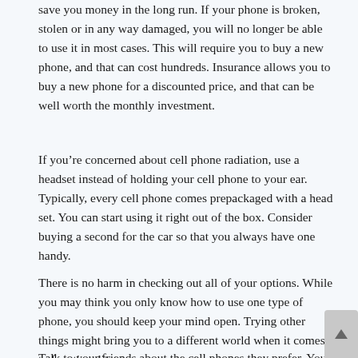save you money in the long run. If your phone is broken, stolen or in any way damaged, you will no longer be able to use it in most cases. This will require you to buy a new phone, and that can cost hundreds. Insurance allows you to buy a new phone for a discounted price, and that can be well worth the monthly investment.
If you're concerned about cell phone radiation, use a headset instead of holding your cell phone to your ear. Typically, every cell phone comes prepackaged with a head set. You can start using it right out of the box. Consider buying a second for the car so that you always have one handy.
There is no harm in checking out all of your options. While you may think you only know how to use one type of phone, you should keep your mind open. Trying other things might bring you to a different world when it comes to functionality.
Talk to your friends about the cell phones they prefer. You can usually put faith in their advice and their experiences can help